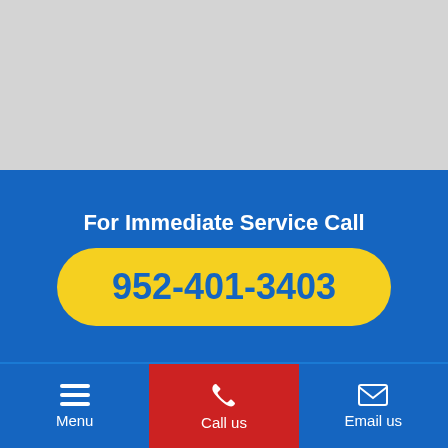[Figure (screenshot): Gray placeholder image area at the top of the page]
For Immediate Service Call
952-401-3403
About
Menu | Call us | Email us